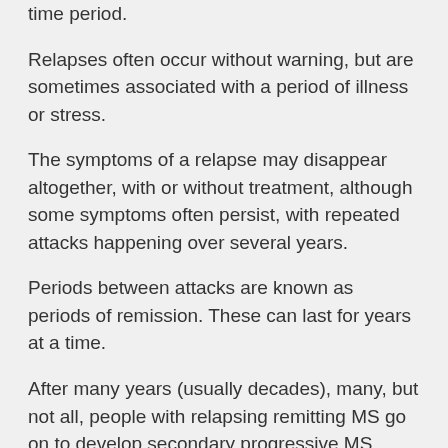time period.
Relapses often occur without warning, but are sometimes associated with a period of illness or stress.
The symptoms of a relapse may disappear altogether, with or without treatment, although some symptoms often persist, with repeated attacks happening over several years.
Periods between attacks are known as periods of remission. These can last for years at a time.
After many years (usually decades), many, but not all, people with relapsing remitting MS go on to develop secondary progressive MS.
In this type of MS, symptoms gradually worsen over time without obvious attacks. Some people continue to have infrequent relapses during this stage.